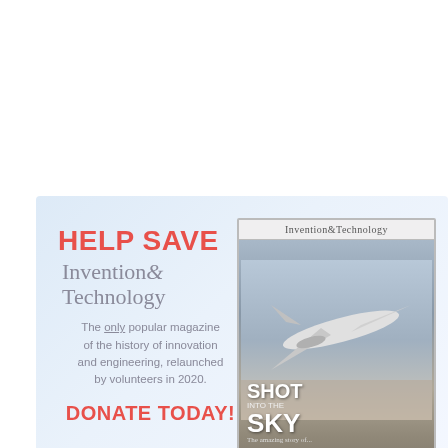[Figure (infographic): Advertisement banner with light blue gradient background. Left side has bold red 'HELP SAVE' heading, serif gray 'Invention& Technology' magazine title, gray body text about the only popular magazine of the history of innovation and engineering, relaunched by volunteers in 2020, and red 'DONATE TODAY!' call to action. Right side shows a magazine cover with 'Invention&Technology' header and an image of an airplane with text 'SHOT' and 'SKY' overlaid.]